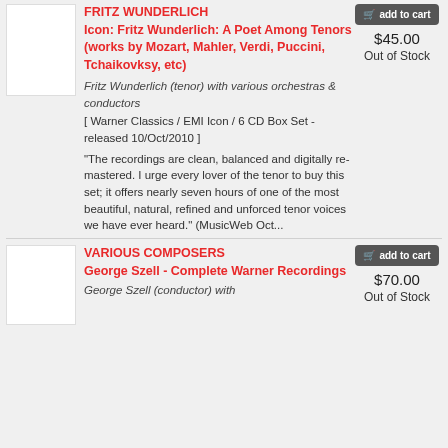[Figure (photo): Album thumbnail placeholder, white rectangle]
FRITZ WUNDERLICH
Icon: Fritz Wunderlich: A Poet Among Tenors (works by Mozart, Mahler, Verdi, Puccini, Tchaikovksy, etc)
Fritz Wunderlich (tenor) with various orchestras & conductors
[ Warner Classics / EMI Icon / 6 CD Box Set - released 10/Oct/2010 ]
"The recordings are clean, balanced and digitally re-mastered. I urge every lover of the tenor to buy this set; it offers nearly seven hours of one of the most beautiful, natural, refined and unforced tenor voices we have ever heard." (MusicWeb Oct...
add to cart
$45.00
Out of Stock
[Figure (photo): Album thumbnail placeholder, white rectangle]
VARIOUS COMPOSERS
George Szell - Complete Warner Recordings
George Szell (conductor) with
add to cart
$70.00
Out of Stock